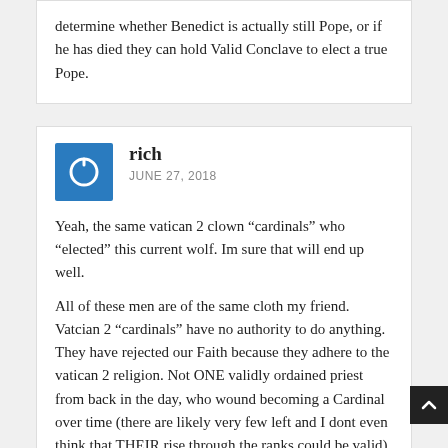determine whether Benedict is actually still Pope, or if he has died they can hold Valid Conclave to elect a true Pope.
rich
JUNE 27, 2018
Yeah, the same vatican 2 clown “cardinals” who “elected” this current wolf. Im sure that will end up well.
All of these men are of the same cloth my friend. Vatcian 2 “cardinals” have no authority to do anything. They have rejected our Faith because they adhere to the vatican 2 religion. Not ONE validly ordained priest from back in the day, who wound becoming a Cardinal over time (there are likely very few left and I dont even think that THEIR rise through the ranks could be valid) has damned the vatican 2 church. When ONE of them